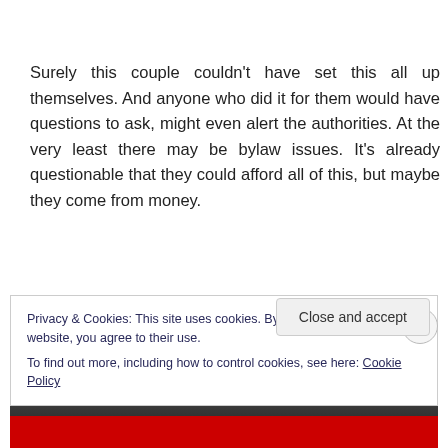Surely this couple couldn't have set this all up themselves. And anyone who did it for them would have questions to ask, might even alert the authorities. At the very least there may be bylaw issues. It's already questionable that they could afford all of this, but maybe they come from money.
Privacy & Cookies: This site uses cookies. By continuing to use this website, you agree to their use.
To find out more, including how to control cookies, see here: Cookie Policy